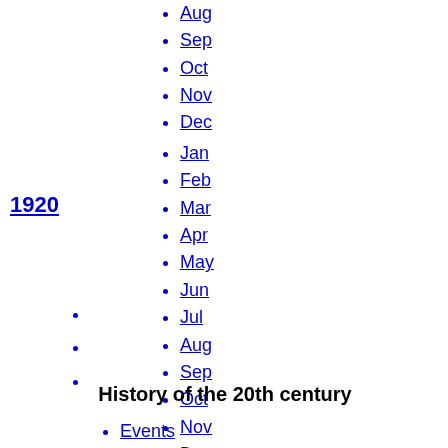Aug
Sep
Oct
Nov
Dec
Jan
Feb
Mar
Apr
May
Jun
Jul
Aug
Sep
Oct
Nov
Dec
1920
v
t
e
History of the 20th century
Events